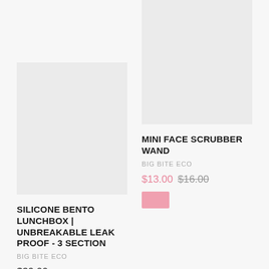[Figure (photo): Pink sale tag partially visible at top of right column]
[Figure (photo): Light gray placeholder image for Silicone Bento Lunchbox product]
[Figure (photo): Light gray placeholder image for Mini Face Scrubber Wand product]
SILICONE BENTO LUNCHBOX | UNBREAKABLE LEAK PROOF - 3 SECTION
BIG BITE ECO
$39.00
MINI FACE SCRUBBER WAND
BIG BITE ECO
$13.00 $16.00
[Figure (other): Pink sale/add-to-cart button below Mini Face Scrubber Wand price]